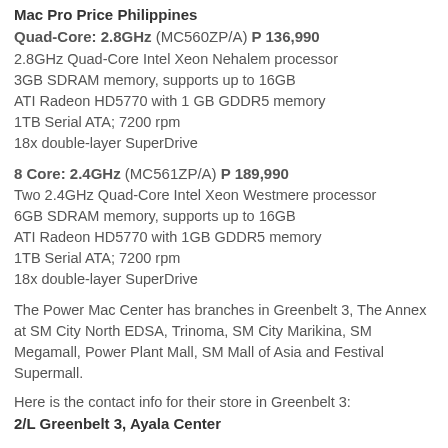Mac Pro Price Philippines
Quad-Core: 2.8GHz (MC560ZP/A) P 136,990
2.8GHz Quad-Core Intel Xeon Nehalem processor
3GB SDRAM memory, supports up to 16GB
ATI Radeon HD5770 with 1 GB GDDR5 memory
1TB Serial ATA; 7200 rpm
18x double-layer SuperDrive
8 Core: 2.4GHz (MC561ZP/A) P 189,990
Two 2.4GHz Quad-Core Intel Xeon Westmere processor
6GB SDRAM memory, supports up to 16GB
ATI Radeon HD5770 with 1GB GDDR5 memory
1TB Serial ATA; 7200 rpm
18x double-layer SuperDrive
The Power Mac Center has branches in Greenbelt 3, The Annex at SM City North EDSA, Trinoma, SM City Marikina, SM Megamall, Power Plant Mall, SM Mall of Asia and Festival Supermall.
Here is the contact info for their store in Greenbelt 3:
2/L Greenbelt 3, Ayala Center